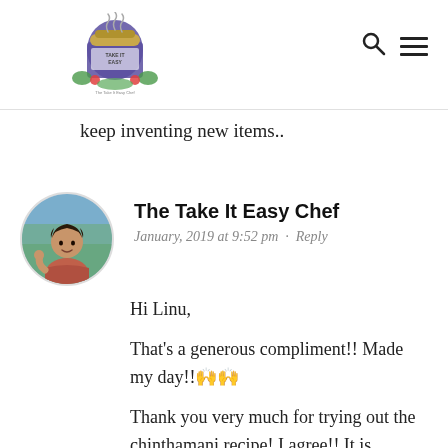[Figure (logo): The Take It Easy Chef logo — illustrated jar with vegetables]
keep inventing new items..
The Take It Easy Chef
January, 2019 at 9:52 pm · Reply
Hi Linu,
That's a generous compliment!! Made my day!! 🙌🙌
Thank you very much for trying out the chinthamani recipe! I agree!! It is delicious and